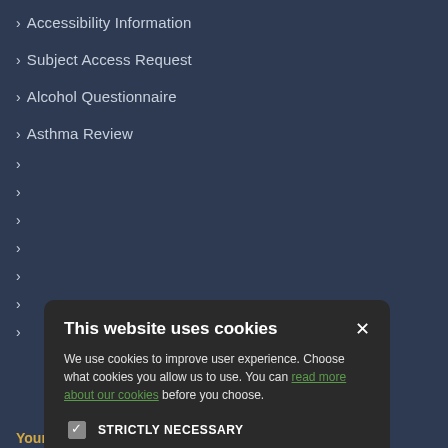> Accessibility Information
> Subject Access Request
> Alcohol Questionnaire
> Asthma Review
[Figure (screenshot): Cookie consent modal dialog with title 'This website uses cookies', body text about cookie choices with a link to read more, four checkboxes (Strictly Necessary checked, Performance, Targeting, Functionality unchecked), and two buttons: ACCEPT ALL and DECLINE ALL]
Your Health